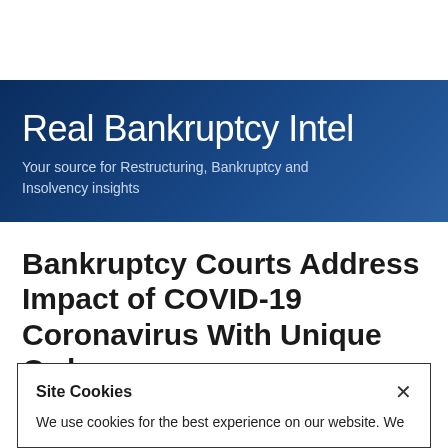Real Bankruptcy Intel
Your source for Restructuring, Bankruptcy and Insolvency insights
Bankruptcy Courts Address Impact of COVID-19 Coronavirus With Unique Orders
Site Cookies
We use cookies for the best experience on our website. We